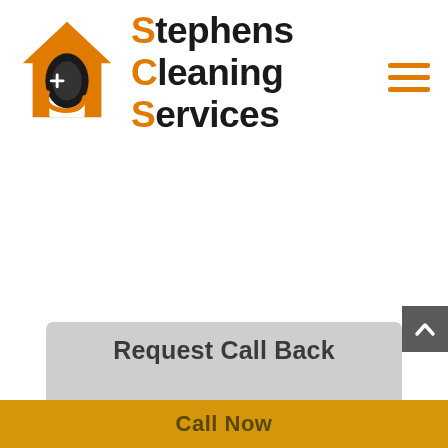[Figure (logo): Stephens Cleaning Services logo with orange house/water drop icon and business name text]
[Figure (other): Hamburger menu icon (three orange horizontal bars)]
[Figure (other): Gray scroll-to-top button with upward chevron arrow]
Request Call Back
Call Now